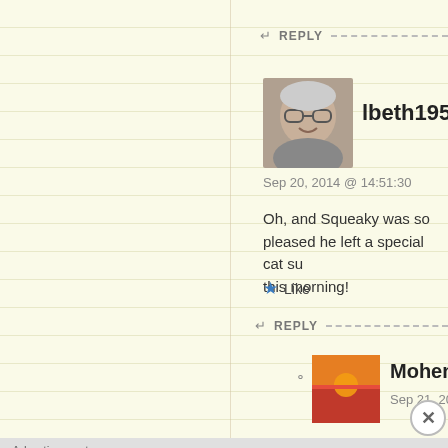↩ REPLY
[Figure (photo): Avatar photo of lbeth1950, an older woman with glasses smiling]
lbeth1950
Sep 20, 2014 @ 14:51:30
Oh, and Squeaky was so pleased he left a special cat su… this morning!
★ Like
↩ REPLY
[Figure (photo): Avatar image of Mohenjo, sunset/landscape photo]
Mohenjo
Sep 21, 2014 @ 23:07:00
Advertisements
[Figure (illustration): DuckDuckGo advertisement banner - orange background with text 'Search, browse, and email with more privacy. All in One Free App' and DuckDuckGo logo on phone]